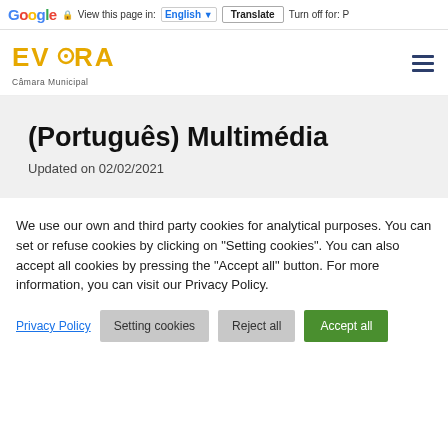Google — View this page in: English ▼ Translate Turn off for: P
[Figure (logo): ÉVORA Câmara Municipal logo in gold/yellow with circular motif]
(Português) Multimédia
Updated on 02/02/2021
We use our own and third party cookies for analytical purposes. You can set or refuse cookies by clicking on "Setting cookies". You can also accept all cookies by pressing the "Accept all" button. For more information, you can visit our Privacy Policy.
Privacy Policy  Setting cookies  Reject all  Accept all